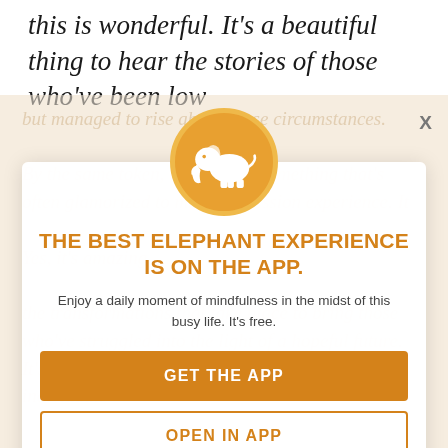this is wonderful. It’s a beautiful thing to hear the stories of those who’ve been low
[Figure (infographic): App promotion modal overlay with Elephant Journal logo (white elephant on orange circle), headline 'THE BEST ELEPHANT EXPERIENCE IS ON THE APP.', subtitle 'Enjoy a daily moment of mindfulness in the midst of this busy life. It’s free.', GET THE APP orange button, OPEN IN APP outlined button, and X close button. Background shows faded article text.]
THE BEST ELEPHANT EXPERIENCE IS ON THE APP.
Enjoy a daily moment of mindfulness in the midst of this busy life. It’s free.
GET THE APP
OPEN IN APP